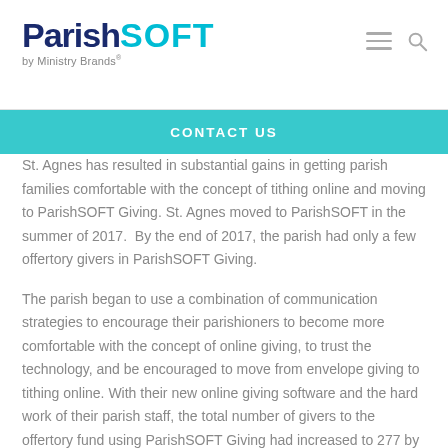ParishSOFT by Ministry Brands
CONTACT US
St. Agnes has resulted in substantial gains in getting parish families comfortable with the concept of tithing online and moving to ParishSOFT Giving. St. Agnes moved to ParishSOFT in the summer of 2017. By the end of 2017, the parish had only a few offertory givers in ParishSOFT Giving.
The parish began to use a combination of communication strategies to encourage their parishioners to become more comfortable with the concept of online giving, to trust the technology, and be encouraged to move from envelope giving to tithing online. With their new online giving software and the hard work of their parish staff, the total number of givers to the offertory fund using ParishSOFT Giving had increased to 277 by the end of 2018.